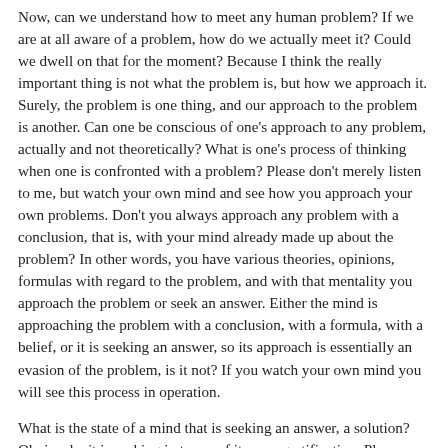Now, can we understand how to meet any human problem? If we are at all aware of a problem, how do we actually meet it? Could we dwell on that for the moment? Because I think the really important thing is not what the problem is, but how we approach it. Surely, the problem is one thing, and our approach to the problem is another. Can one be conscious of one's approach to any problem, actually and not theoretically? What is one's process of thinking when one is confronted with a problem? Please don't merely listen to me, but watch your own mind and see how you approach your own problems. Don't you always approach any problem with a conclusion, that is, with your mind already made up about the problem? In other words, you have various theories, opinions, formulas with regard to the problem, and with that mentality you approach the problem or seek an answer. Either the mind is approaching the problem with a conclusion, with a formula, with a belief, or it is seeking an answer, so its approach is essentially an evasion of the problem, is it not? If you watch your own mind you will see this process in operation.
What is the state of a mind that is seeking an answer, a solution? Obviously, it is seeking in terms of its own gratification. Please watch your own mind, because I am only describing what is actually taking place. If you are merely listening to me, what I am saying will be utterly superficial; but if you are following the description of your own mind, which means being aware of your own mental processes, then what is being said will have significance.